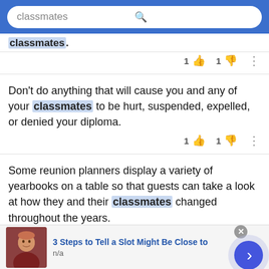classmates
classmates.
1 👍  1 👎  ⋮
Don't do anything that will cause you and any of your classmates to be hurt, suspended, expelled, or denied your diploma.
1 👍  1 👎  ⋮
Some reunion planners display a variety of yearbooks on a table so that guests can take a look at how they and their classmates changed throughout the years.
1 👍  1 👎  ⋮
3 Steps to Tell a Slot Might Be Close to
n/a